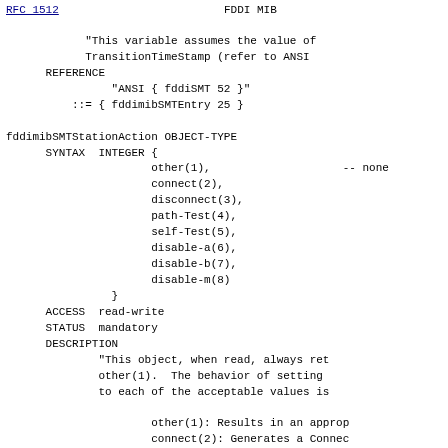RFC 1512                         FDDI MIB
"This variable assumes the value of
            TransitionTimeStamp (refer to ANSI
      REFERENCE
                "ANSI { fddiSMT 52 }"
          ::= { fddimibSMTEntry 25 }
fddimibSMTStationAction OBJECT-TYPE
      SYNTAX  INTEGER {
                      other(1),                    -- none
                      connect(2),
                      disconnect(3),
                      path-Test(4),
                      self-Test(5),
                      disable-a(6),
                      disable-b(7),
                      disable-m(8)
                }
      ACCESS  read-write
      STATUS  mandatory
      DESCRIPTION
              "This object, when read, always ret
              other(1).  The behavior of setting
              to each of the acceptable values is

                      other(1): Results in an approp
                      connect(2): Generates a Connec
                            to begin a connection sec
                            Ref 9.4.2